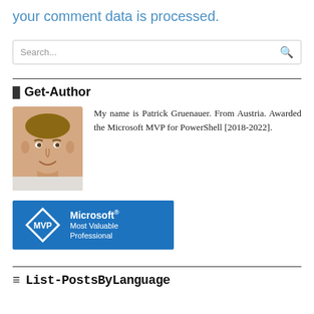your comment data is processed.
Search...
Get-Author
My name is Patrick Gruenauer. From Austria. Awarded the Microsoft MVP for PowerShell [2018-2022].
[Figure (logo): Microsoft MVP Most Valuable Professional blue badge logo]
List-PostsByLanguage